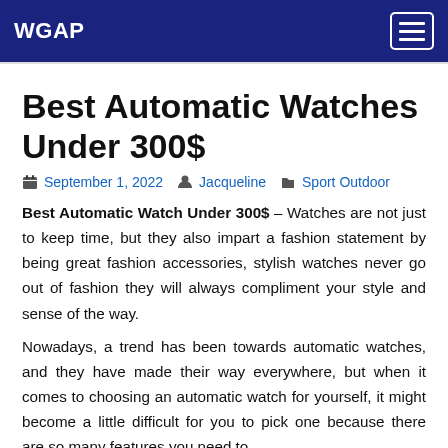WGAP
Best Automatic Watches Under 300$
September 1, 2022  Jacqueline  Sport Outdoor
Best Automatic Watch Under 300$ – Watches are not just to keep time, but they also impart a fashion statement by being great fashion accessories, stylish watches never go out of fashion they will always compliment your style and sense of the way.
Nowadays, a trend has been towards automatic watches, and they have made their way everywhere, but when it comes to choosing an automatic watch for yourself, it might become a little difficult for you to pick one because there are so many features you need to